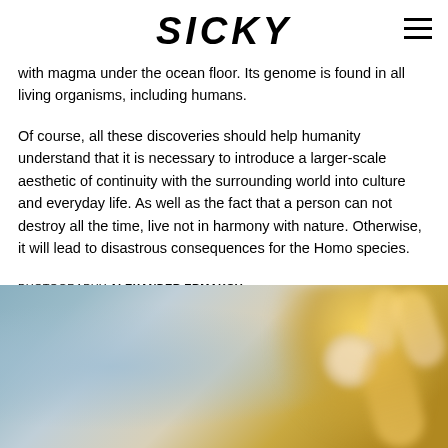SICKY
with magma under the ocean floor. Its genome is found in all living organisms, including humans.
Of course, all these discoveries should help humanity understand that it is necessary to introduce a larger-scale aesthetic of continuity with the surrounding world into culture and everyday life. As well as the fact that a person can not destroy all the time, live not in harmony with nature. Otherwise, it will lead to disastrous consequences for the Homo species.
PHOTOGRAPHY ALEXANDER ERMAKOV FASHION ALYONA PRYAMIKOVA MODEL SARYUNA TSYDYPOVA FROM VPROJECT MODELS HAIR & MAKE-UP SEVIL TAI
[Figure (photo): Blurred photo of a model with blonde hair raising arms, with golden/yellow fabric, against a blue-grey background]